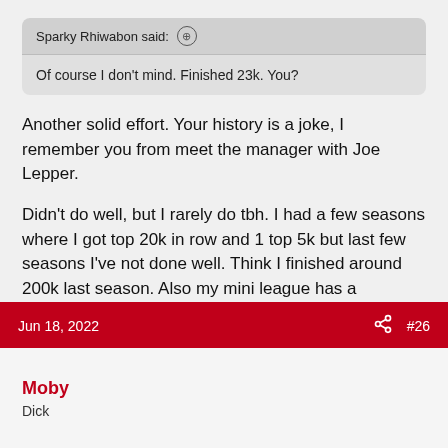Sparky Rhiwabon said: ⊕
Of course I don't mind. Finished 23k. You?
Another solid effort. Your history is a joke, I remember you from meet the manager with Joe Lepper.
Didn't do well, but I rarely do tbh. I had a few seasons where I got top 20k in row and 1 top 5k but last few seasons I've not done well. Think I finished around 200k last season. Also my mini league has a manager of the month last few years so that hasn't helped as strategy is different.
Jun 18, 2022  #26
Moby
Dick